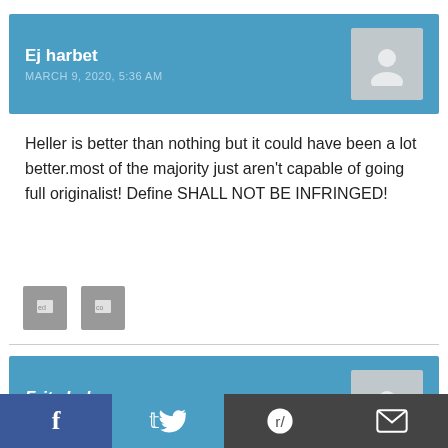Ej harbet
MARCH 9, 2020, 5:36 AM
Heller is better than nothing but it could have been a lot better.most of the majority just aren't capable of going full originalist! Define SHALL NOT BE INFRINGED!
[Figure (other): Two small grey reaction/share icon buttons]
Fritz Leber
MARCH 7, 2020, 5:55 PM
n, especially in cities,
Social share bar: Facebook, Twitter, Reddit, Email